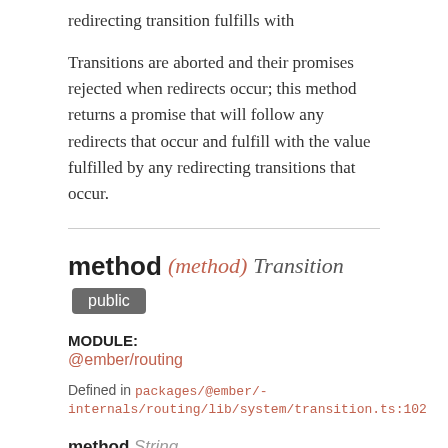redirecting transition fulfills with
Transitions are aborted and their promises rejected when redirects occur; this method returns a promise that will follow any redirects that occur and fulfill with the value fulfilled by any redirecting transitions that occur.
method (method) Transition public
MODULE:
@ember/routing
Defined in packages/@ember/-internals/routing/lib/system/transition.ts:102
method String
the type of URL-changing method to use at the end of a transition. Accepted values are 'replace', falsy values, or any other non-falsy value (which is interpreted as an updateURL transition).